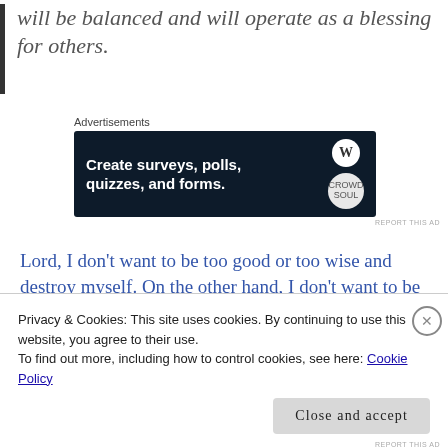will be balanced and will operate as a blessing for others.
[Figure (other): Advertisement banner for WordPress survey/poll/quiz/form tool. Dark navy background with text 'Create surveys, polls, quizzes, and forms.' with WordPress and Crowdsignal logos.]
Lord, I don’t want to be too good or too wise and destroy myself. On the other hand, I don’t want to be too wicked either. Lord, I don’t want to be a fool in my actions and die before my time. Help
Privacy & Cookies: This site uses cookies. By continuing to use this website, you agree to their use.
To find out more, including how to control cookies, see here: Cookie Policy
Close and accept